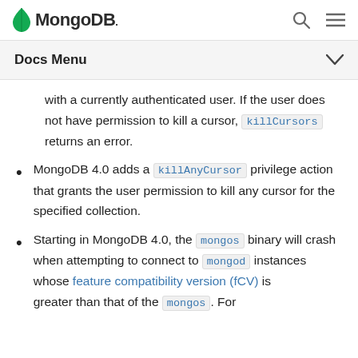MongoDB
Docs Menu
with a currently authenticated user. If the user does not have permission to kill a cursor, killCursors returns an error.
MongoDB 4.0 adds a killAnyCursor privilege action that grants the user permission to kill any cursor for the specified collection.
Starting in MongoDB 4.0, the mongos binary will crash when attempting to connect to mongod instances whose feature compatibility version (fCV) is greater than that of the mongos. For